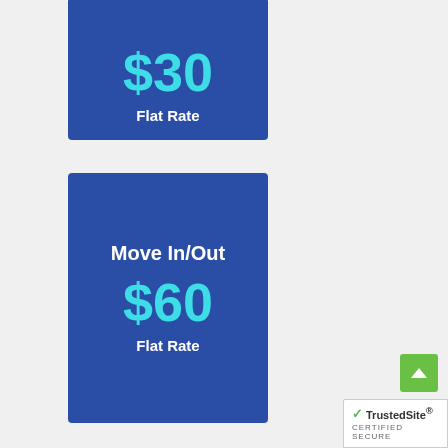[Figure (infographic): Blue pricing card (top, partially visible) showing $30 Flat Rate]
$30
Flat Rate
[Figure (infographic): Blue pricing card for Move In/Out showing $60 Flat Rate]
Move In/Out
$60
Flat Rate
[Figure (other): TrustedSite Certified Secure badge in bottom right corner]